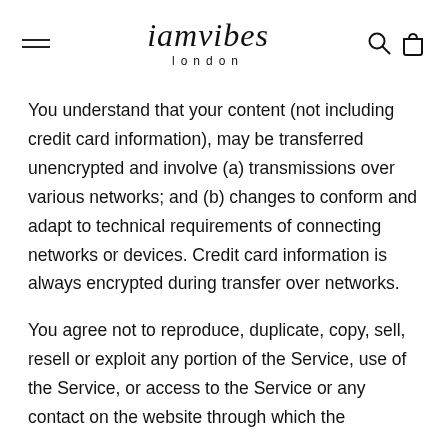iamvibes london
You understand that your content (not including credit card information), may be transferred unencrypted and involve (a) transmissions over various networks; and (b) changes to conform and adapt to technical requirements of connecting networks or devices. Credit card information is always encrypted during transfer over networks.
You agree not to reproduce, duplicate, copy, sell, resell or exploit any portion of the Service, use of the Service, or access to the Service or any contact on the website through which the